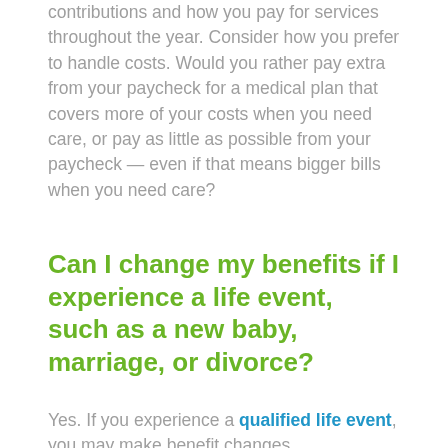contributions and how you pay for services throughout the year. Consider how you prefer to handle costs. Would you rather pay extra from your paycheck for a medical plan that covers more of your costs when you need care, or pay as little as possible from your paycheck — even if that means bigger bills when you need care?
Can I change my benefits if I experience a life event, such as a new baby, marriage, or divorce?
Yes. If you experience a qualified life event, you may make benefit changes